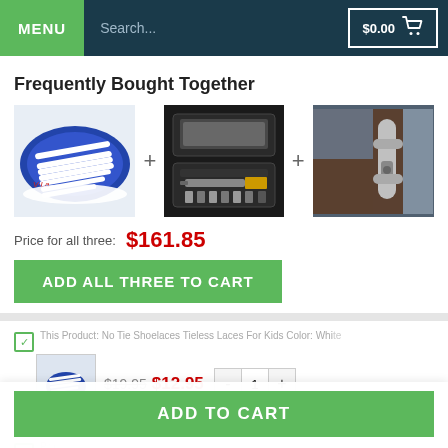MENU  Search...  $0.00
Frequently Bought Together
[Figure (photo): Three product images in a row: no-tie shoelaces (blue/white, shoe shape), a tool kit in black case, and a door handle/lock. Separated by plus signs.]
Price for all three: $161.85
ADD ALL THREE TO CART
This Product: No Tie Shoelaces Tieless Laces For Kids Color: White $19.95 $12.95 - 1 + • $19.95 $12.95
ADD TO CART